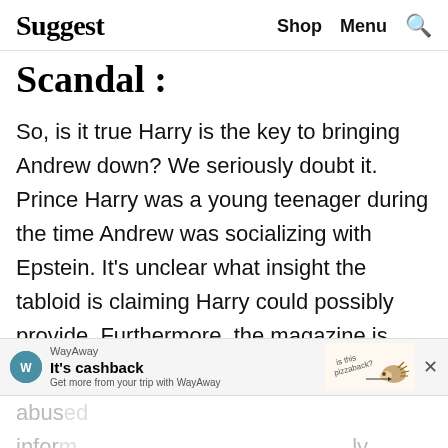Suggest  Shop  Menu  🔍
Scandal:
So, is it true Harry is the key to bringing Andrew down? We seriously doubt it. Prince Harry was a young teenager during the time Andrew was socializing with Epstein. It's unclear what insight the tabloid is claiming Harry could possibly provide. Furthermore, the magazine is quite blasé about what Andrew is being accused of. The Epstein scandal was a major sex trafficking operation in which many underage girls were held captive and sexually abused... inform...ly
[Figure (screenshot): WayAway advertisement banner: logo, 'It's cashback', 'Get more from your trip with WayAway', pizza illustration with text 'is this pizzaback?', close X button]